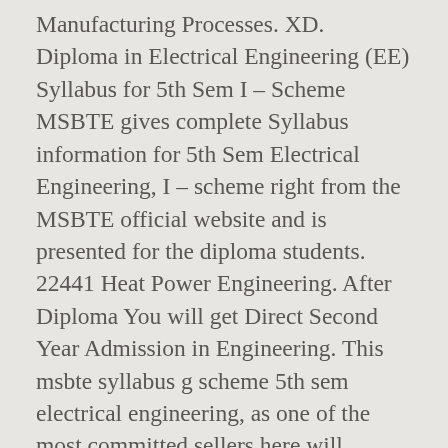Manufacturing Processes. XD. Diploma in Electrical Engineering (EE) Syllabus for 5th Sem I – Scheme MSBTE gives complete Syllabus information for 5th Sem Electrical Engineering, I – scheme right from the MSBTE official website and is presented for the diploma students. 22441 Heat Power Engineering. After Diploma You will get Direct Second Year Admission in Engineering. This msbte syllabus g scheme 5th sem electrical engineering, as one of the most committed sellers here will unconditionally be along with the best options to review. You could not deserted going when ebook gathering or library or borrowing from your associates to way in them. Follow the links